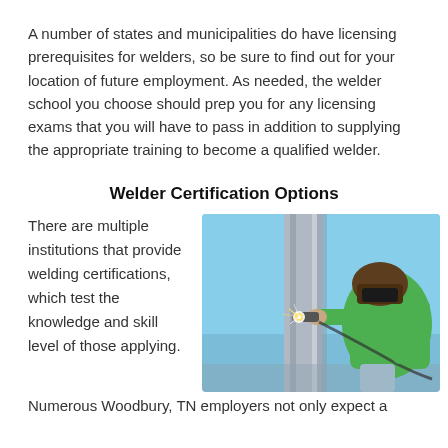A number of states and municipalities do have licensing prerequisites for welders, so be sure to find out for your location of future employment. As needed, the welder school you choose should prep you for any licensing exams that you will have to pass in addition to supplying the appropriate training to become a qualified welder.
Welder Certification Options
There are multiple institutions that provide welding certifications, which test the knowledge and skill level of those applying.
[Figure (photo): A welder wearing a green shirt and welding helmet working on metal, with sparks visible, against a blue sky background.]
Numerous Woodbury, TN employers not only expect a